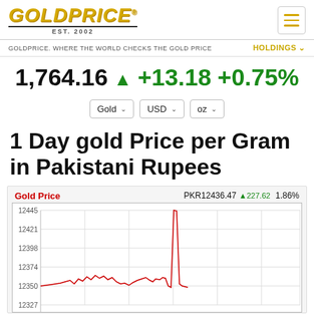[Figure (logo): GoldPrice logo with 'EST. 2002' tagline and hamburger menu icon]
GOLDPRICE. WHERE THE WORLD CHECKS THE GOLD PRICE | HOLDINGS
1,764.16 ▲ +13.18 +0.75%
Gold | USD | oz
1 Day gold Price per Gram in Pakistani Rupees
[Figure (line-chart): 1-day gold price line chart in Pakistani Rupees showing intraday movement with a spike to 12445, y-axis labels: 12445, 12421, 12398, 12374, 12350, 12327. PKR12436.47 +227.62 1.86%]